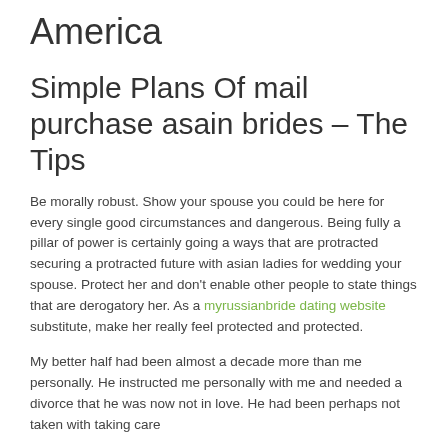America
Simple Plans Of mail purchase asain brides – The Tips
Be morally robust. Show your spouse you could be here for every single good circumstances and dangerous. Being fully a pillar of power is certainly going a ways that are protracted securing a protracted future with asian ladies for wedding your spouse. Protect her and don't enable other people to state things that are derogatory her. As a myrussianbride dating website substitute, make her really feel protected and protected.
My better half had been almost a decade more than me personally. He instructed me personally with me and needed a divorce that he was now not in love. He had been perhaps not taken with taking care